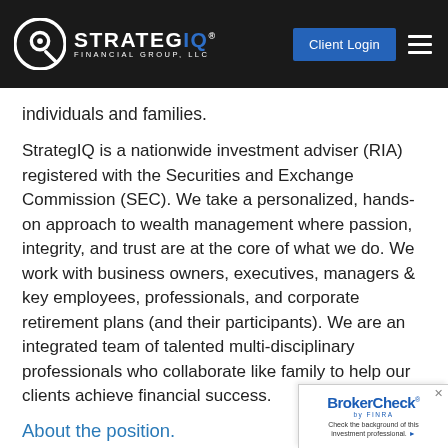STRATEGIQ FINANCIAL GROUP, LLC — Client Login
individuals and families.
StrategIQ is a nationwide investment adviser (RIA) registered with the Securities and Exchange Commission (SEC). We take a personalized, hands-on approach to wealth management where passion, integrity, and trust are at the core of what we do. We work with business owners, executives, managers & key employees, professionals, and corporate retirement plans (and their participants). We are an integrated team of talented multi-disciplinary professionals who collaborate like family to help our clients achieve financial success.
About the position.
[Figure (logo): BrokerCheck by FINRA — Check the background of this investment professional.]